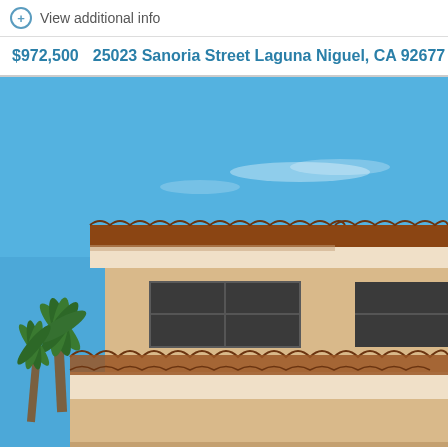View additional info
$972,500   25023 Sanoria Street Laguna Niguel, CA 92677
[Figure (photo): Exterior photo of a two-story Mediterranean-style house with terracotta tile roofs, beige stucco walls, dark-framed windows, and palm trees visible on the left side. Blue sky in the background.]